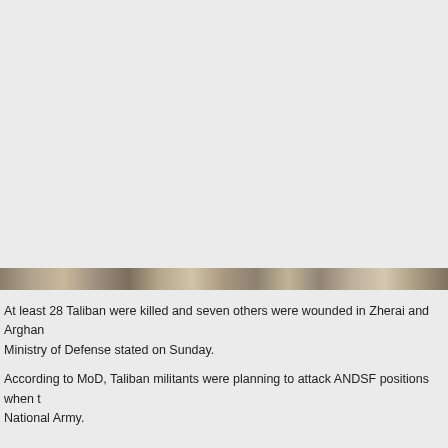[Figure (photo): A photograph showing soldiers or military personnel in a camouflage/terrain environment. Only the bottom strip of the image is visible on this page, showing a narrow band of textured camouflage pattern in muted earth tones.]
At least 28 Taliban were killed and seven others were wounded in Zherai and Arghan Ministry of Defense stated on Sunday.
According to MoD, Taliban militants were planning to attack ANDSF positions when t National Army.